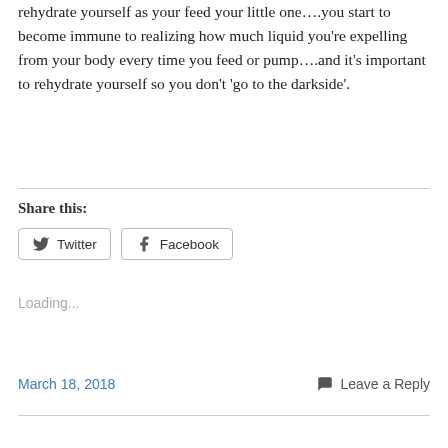rehydrate yourself as your feed your little one….you start to become immune to realizing how much liquid you're expelling from your body every time you feed or pump….and it's important to rehydrate yourself so you don't 'go to the darkside'.
Share this:
Loading...
March 18, 2018
Leave a Reply